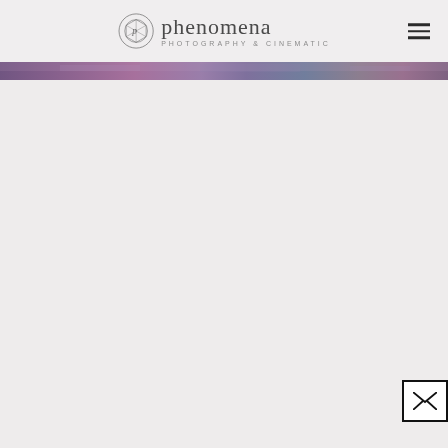[Figure (logo): Phenomena Photography & Cinematic logo with circular geometric icon and stylized text]
[Figure (illustration): Hamburger menu icon (three horizontal lines) in top right corner]
[Figure (photo): Narrow horizontal banner strip with blurred purple/pink/blue textured background image]
[Figure (other): Email/contact icon inside a square border box in the bottom right corner]